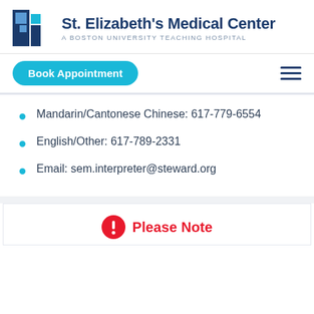[Figure (logo): St. Elizabeth's Medical Center logo with blue cross icon and text 'St. Elizabeth's Medical Center – A Boston University Teaching Hospital']
Mandarin/Cantonese Chinese: 617-779-6554
English/Other: 617-789-2331
Email: sem.interpreter@steward.org
Please Note